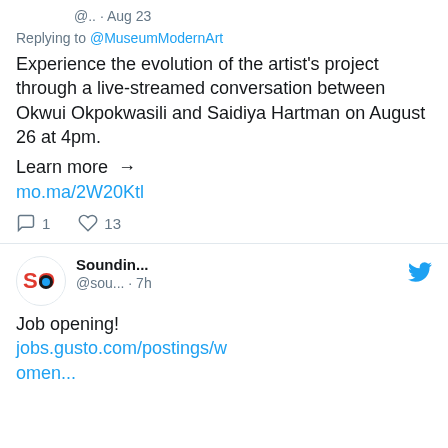@.. · Aug 23
Replying to @MuseumModernArt
Experience the evolution of the artist's project through a live-streamed conversation between Okwui Okpokwasili and Saidiya Hartman on August 26 at 4pm.
Learn more → mo.ma/2W20Ktl
1 reply, 13 likes
Soundin... @sou... · 7h
Job opening! jobs.gusto.com/postings/women...